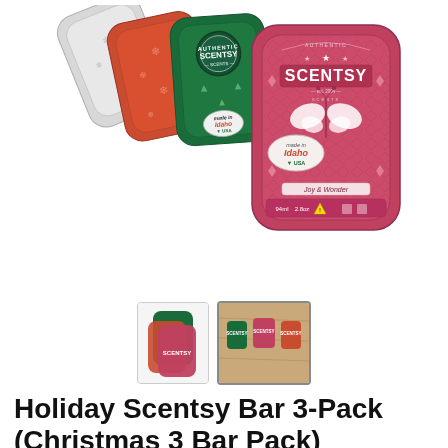[Figure (photo): Three Scentsy wax bar packages fanned out — silver/white, red/orange with snowflakes, and green with trees — front one is pink/red 'Joy & Wonder' design with butterfly, Made in Idaho USA badge, and product safety information at bottom.]
[Figure (photo): Two thumbnail images: left shows the three Scentsy bar packages (green, orange, red/pink) stacked, right shows three Scentsy bars arranged on a wooden surface.]
Holiday Scentsy Bar 3-Pack (Christmas 3 Bar Pack)